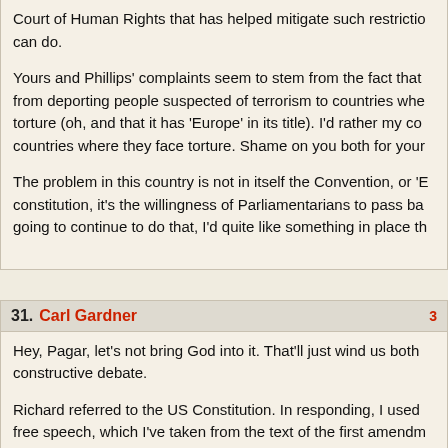Court of Human Rights that has helped mitigate such restrictions can do.

Yours and Phillips' complaints seem to stem from the fact that from deporting people suspected of terrorism to countries where torture (oh, and that it has 'Europe' in its title). I'd rather my countries where they face torture. Shame on you both for your

The problem in this country is not in itself the Convention, or 'E constitution, it's the willingness of Parliamentarians to pass ba going to continue to do that, I'd quite like something in place th
31. Carl Gardner
Hey, Pagar, let's not bring God into it. That'll just wind us both constructive debate.

Richard referred to the US Constitution. In responding, I used free speech, which I've taken from the text of the first amendm http://www.law.cornell.edu/constitution/constitution.billofrights.h